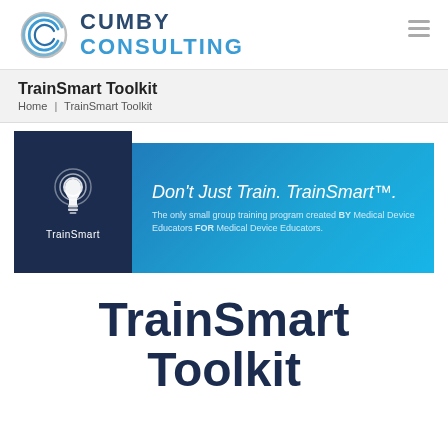[Figure (logo): Cumby Consulting logo with circular C graphic and text CUMBY CONSULTING]
TrainSmart Toolkit
Home | TrainSmart Toolkit
[Figure (illustration): TrainSmart banner with dark navy box containing lightbulb icon and TrainSmart label, and blue banner with text: Don't Just Train. TrainSmart™. The only small group training program created BY Medical Device Educators FOR Medical Device Educators.]
TrainSmart Toolkit